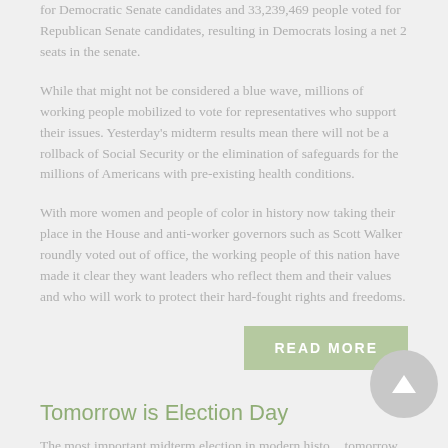for Democratic Senate candidates and 33,239,469 people voted for Republican Senate candidates, resulting in Democrats losing a net 2 seats in the senate.
While that might not be considered a blue wave, millions of working people mobilized to vote for representatives who support their issues. Yesterday's midterm results mean there will not be a rollback of Social Security or the elimination of safeguards for the millions of Americans with pre-existing health conditions.
With more women and people of color in history now taking their place in the House and anti-worker governors such as Scott Walker roundly voted out of office, the working people of this nation have made it clear they want leaders who reflect them and their values and who will work to protect their hard-fought rights and freedoms.
READ MORE
Tomorrow is Election Day
The most important midterm election in modern history tomorrow. Are you ready to vote?
So much is at stake at the ballot box on Tuesday: the